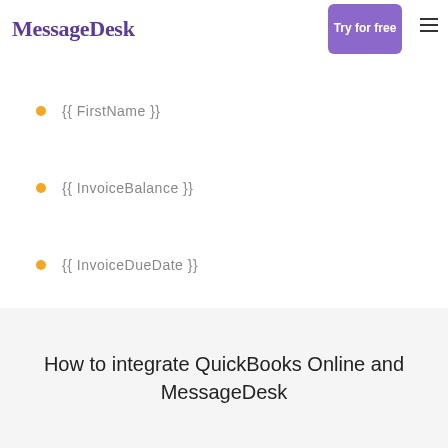MessageDesk | Try for free
{{ FirstName }}
{{ InvoiceBalance }}
{{ InvoiceDueDate }}
How to integrate QuickBooks Online and MessageDesk